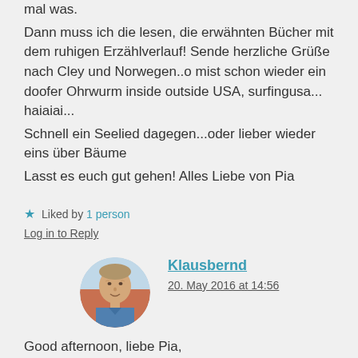mal was.
Dann muss ich die lesen, die erwähnten Bücher mit dem ruhigen Erzählverlauf! Sende herzliche Grüße nach Cley und Norwegen..o mist schon wieder ein doofer Ohrwurm inside outside USA, surfingusa... haiaiai...
Schnell ein Seelied dagegen...oder lieber wieder eins über Bäume
Lastt es euch gut gehen! Alles Liebe von Pia
★ Liked by 1 person
Log in to Reply
[Figure (photo): Circular avatar photo of Klausbernd, a middle-aged man with light hair wearing a blue shirt]
Klausbernd
20. May 2016 at 14:56
Good afternoon, liebe Pia,